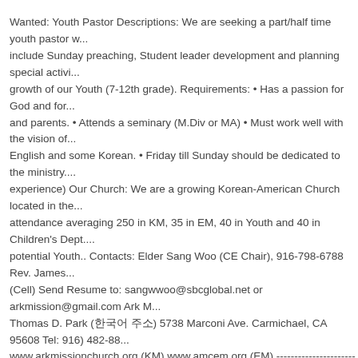Wanted: Youth Pastor Descriptions: We are seeking a part/half time youth pastor w... include Sunday preaching, Student leader development and planning special activi... growth of our Youth (7-12th grade). Requirements: • Has a passion for God and for... and parents. • Attends a seminary (M.Div or MA) • Must work well with the vision of... English and some Korean. • Friday till Sunday should be dedicated to the ministry.... experience) Our Church: We are a growing Korean-American Church located in the... attendance averaging 250 in KM, 35 in EM, 40 in Youth and 40 in Children's Dept.... potential Youth.. Contacts: Elder Sang Woo (CE Chair), 916-798-6788 Rev. James... (Cell) Send Resume to: sangwwoo@sbcglobal.net or arkmission@gmail.com Ark M... Thomas D. Park (한국어 주소) 5738 Marconi Ave. Carmichael, CA 95608 Tel: 916) 482-88... www.arkmissionchurch.org (KM) www.amcem.org (EM) ----------------------------------- Church, PCA) 한국어 내용 생략됩니다 M.Div 또는 MA 를 갖추었으면 좋겠습니다 이메일 주소로 이력서를 보내주십시오 이것은 한국어 내용입니다 영어와 한국어 사용 가능하신 분... Ave. Carmichael, CA 95608 웹: www.arkmissionchurch.org